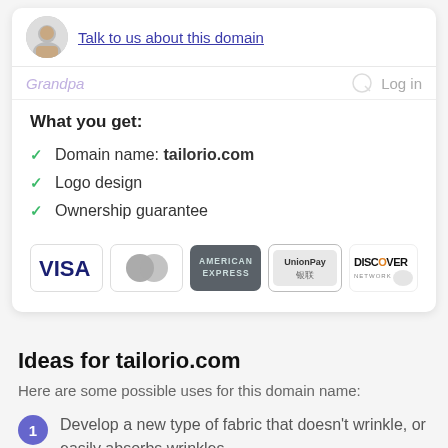Talk to us about this domain
Grandpa   Log in
What you get:
Domain name: tailorio.com
Logo design
Ownership guarantee
[Figure (other): Payment method icons: VISA, Mastercard, American Express, UnionPay, Discover Network]
Ideas for tailorio.com
Here are some possible uses for this domain name:
Develop a new type of fabric that doesn't wrinkle, or easily absorbs wrinkles.